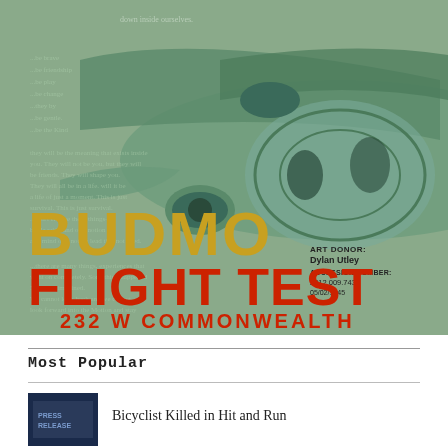[Figure (illustration): Art exhibition poster showing a cutaway illustration of a WWII bomber aircraft cockpit with crew visible inside. Large gold text 'BUDMO' and red text 'FLIGHT TEST' overlaid on the aircraft image. Text overlay includes poetic/narrative text. Bottom shows '232 W COMMONWEALTH'. Bottom right shows 'ART DONOR: Dylan Utley ACCESSION NUMBER: 2012.009.743 05/02/1945'.]
Most Popular
Bicyclist Killed in Hit and Run